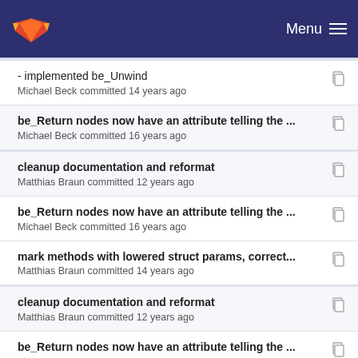Menu
- implemented be_Unwind
Michael Beck committed 14 years ago
be_Return nodes now have an attribute telling the ...
Michael Beck committed 16 years ago
cleanup documentation and reformat
Matthias Braun committed 12 years ago
be_Return nodes now have an attribute telling the ...
Michael Beck committed 16 years ago
mark methods with lowered struct params, correct...
Matthias Braun committed 14 years ago
cleanup documentation and reformat
Matthias Braun committed 12 years ago
be_Return nodes now have an attribute telling the ...
Michael Beck committed 16 years ago
Imprint